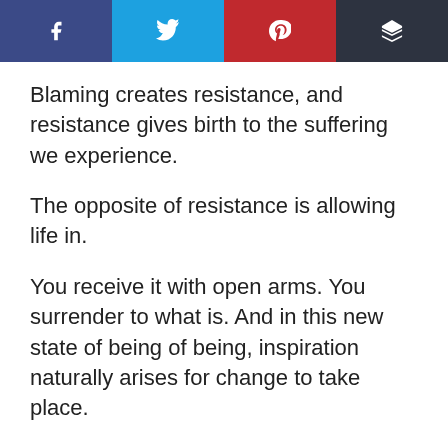[Figure (other): Social sharing bar with four buttons: Facebook (dark blue), Twitter (light blue), Pinterest (red), Buffer (dark grey), each with white icon]
Blaming creates resistance, and resistance gives birth to the suffering we experience.
The opposite of resistance is allowing life in.
You receive it with open arms. You surrender to what is. And in this new state of being of being, inspiration naturally arises for change to take place.
What would happen if you gave yourself permission to ease into the challenge knowing it is an ultimate invitation from life for your inner alignment and advancement?